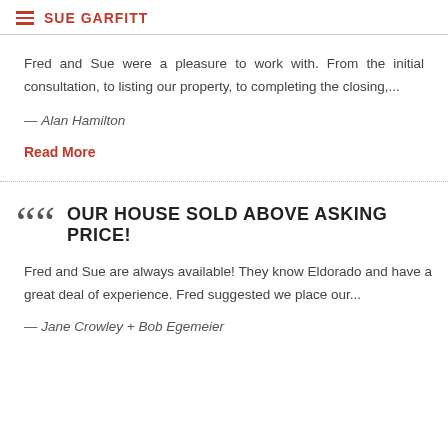SUE GARFITT
Fred and Sue were a pleasure to work with. From the initial consultation, to listing our property, to completing the closing,...
— Alan Hamilton
Read More
OUR HOUSE SOLD ABOVE ASKING PRICE!
Fred and Sue are always available! They know Eldorado and have a great deal of experience. Fred suggested we place our...
— Jane Crowley + Bob Egemeier